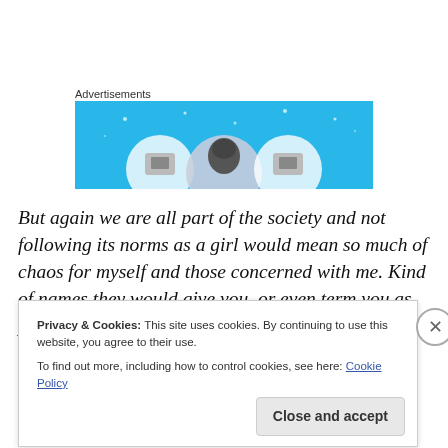Advertisements
[Figure (illustration): Advertisement banner with light blue background showing three circular icons with figures, resembling people or robots, centered on the banner.]
But again we are all part of the society and not following its norms as a girl would mean so much of chaos for myself and those concerned with me. Kind of names they would give you, or even term you as psychologically imbalanced person, wow so much for simplicity , but then
Privacy & Cookies: This site uses cookies. By continuing to use this website, you agree to their use.
To find out more, including how to control cookies, see here: Cookie Policy